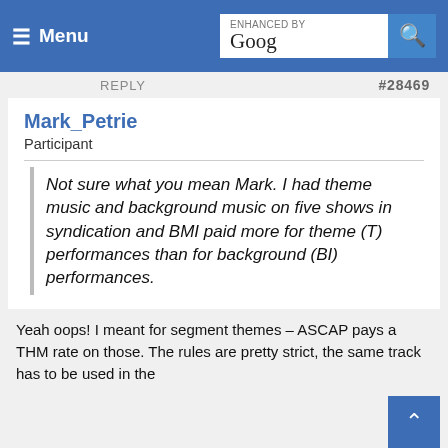Menu | ENHANCED BY Google [search bar]
REPLY   #28469
Mark_Petrie
Participant
Not sure what you mean Mark. I had theme music and background music on five shows in syndication and BMI paid more for theme (T) performances than for background (BI) performances.
Yeah oops! I meant for segment themes – ASCAP pays a THM rate on those. The rules are pretty strict, the same track has to be used in the